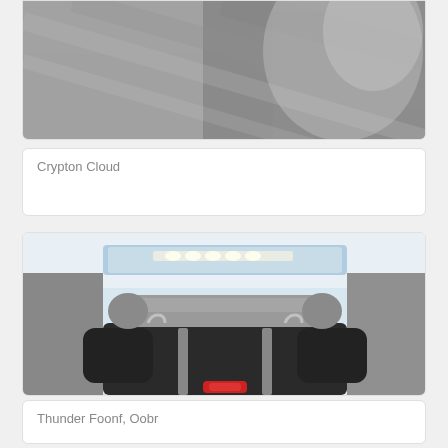[Figure (photo): Close-up photo of a car seat fabric in grey/charcoal texture, partially cropped at top of page]
Crypton Cloud
[Figure (photo): Rear-facing view of a child car seat installed in a vehicle, showing the top padded headrest bar, harness clips, and sunroof visible in background]
Thunder Foonf, Oobr